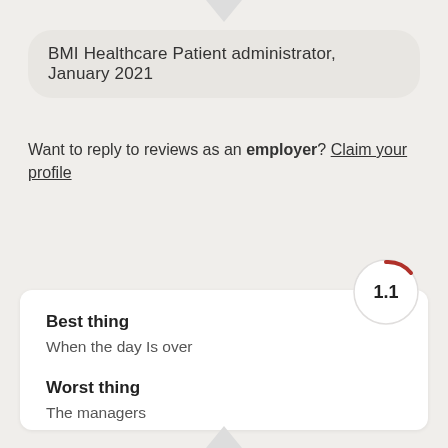BMI Healthcare Patient administrator, January 2021
Want to reply to reviews as an employer? Claim your profile
[Figure (other): Rating circle showing score 1.1 with a small red arc indicator]
Best thing
When the day Is over
Worst thing
The managers